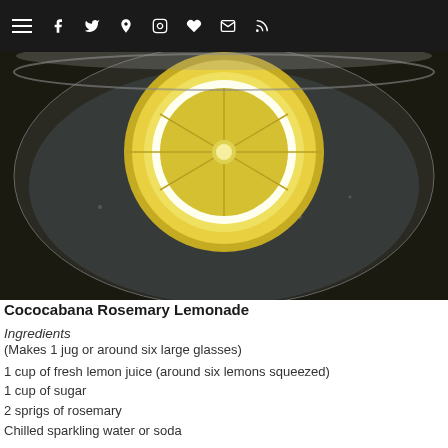≡ f ♦ ℗ ☆ ✉ ⌘
[Figure (photo): Close-up top-down photo of a glass filled with sparkling water and a lemon slice, on a dark background]
Cococabana Rosemary Lemonade
Ingredients
(Makes 1 jug or around six large glasses)
1 cup of fresh lemon juice (around six lemons squeezed)
1 cup of sugar
2 sprigs of rosemary
Chilled sparkling water or soda
To garnish: 1 lemon & 6 rosemary sprigs
Optional: Icy cold vodka
Directions
Squeeze the lemons and strain into a small saucepan (ensuring that there are no pips in the pan!).